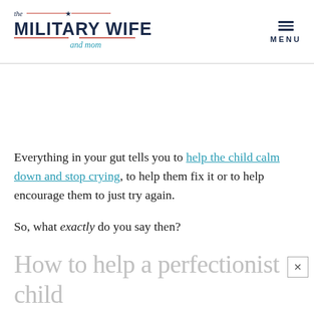the MILITARY WIFE and mom | MENU
Everything in your gut tells you to help the child calm down and stop crying, to help them fix it or to help encourage them to just try again.
So, what exactly do you say then?
How to help a perfectionist child